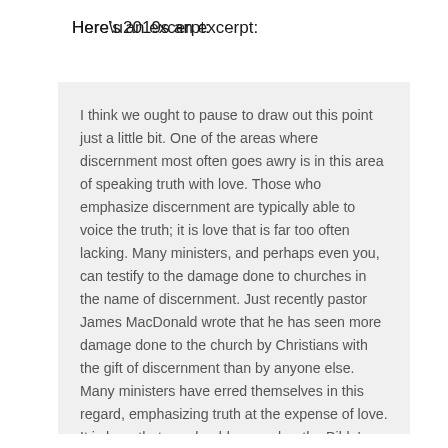Here’s an excerpt:
I think we ought to pause to draw out this point just a little bit. One of the areas where discernment most often goes awry is in this area of speaking truth with love. Those who emphasize discernment are typically able to voice the truth; it is love that is far too often lacking. Many ministers, and perhaps even you, can testify to the damage done to churches in the name of discernment. Just recently pastor James MacDonald wrote that he has seen more damage done to the church by Christians with the gift of discernment than by anyone else. Many ministers have erred themselves in this regard, emphasizing truth at the expense of love. It is here that we should remember the Bible’s injunctions to remain childlike. We can go back to 1 Corinthians 14:20 and see Paul’s exhortation to